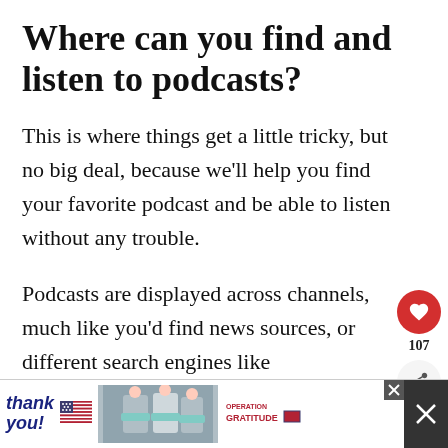Where can you find and listen to podcasts?
This is where things get a little tricky, but no big deal, because we'll help you find your favorite podcast and be able to listen without any trouble.
Podcasts are displayed across channels, much like you'd find news sources, or different search engines like...
[Figure (infographic): Social sidebar with heart/like button showing 107 likes and a share button]
[Figure (infographic): What's Next card showing a firefighter thumbnail with label 'WHAT'S NEXT → The Cutest Firefighter...']
[Figure (infographic): Advertisement banner at bottom: Thank you message with American flag, photo of masked medical workers, and Operation Gratitude logo]